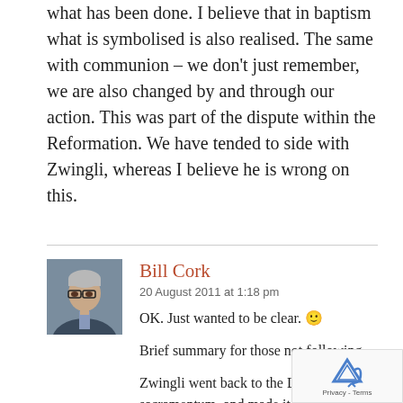what has been done. I believe that in baptism what is symbolised is also realised. The same with communion – we don't just remember, we are also changed by and through our action. This was part of the dispute within the Reformation. We have tended to side with Zwingli, whereas I believe he is wrong on this.
Bill Cork
20 August 2011 at 1:18 pm
OK. Just wanted to be clear. 🙂
Brief summary for those not following ...
Zwingli went back to the Latin, sacramentum, and made it a kind of